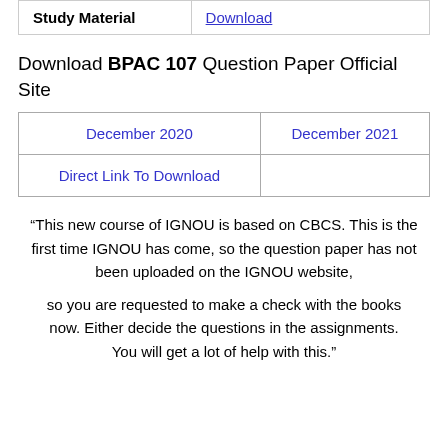| Study Material | Download |
| --- | --- |
Download BPAC 107 Question Paper Official Site
| December 2020 | December 2021 |
| Direct Link To Download |  |
“This new course of IGNOU is based on CBCS. This is the first time IGNOU has come, so the question paper has not been uploaded on the IGNOU website, so you are requested to make a check with the books now. Either decide the questions in the assignments. You will get a lot of help with this.”